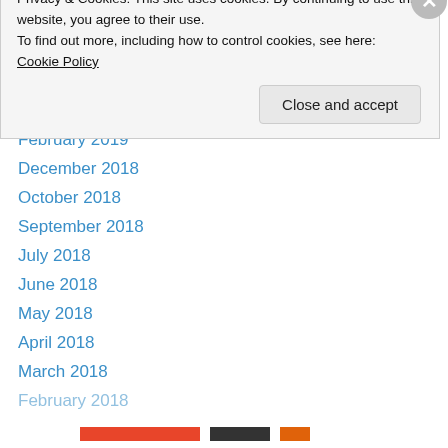October 2019
August 2019
July 2019
March 2019
February 2019
December 2018
October 2018
September 2018
July 2018
June 2018
May 2018
April 2018
March 2018
February 2018
Privacy & Cookies: This site uses cookies. By continuing to use this website, you agree to their use.
To find out more, including how to control cookies, see here: Cookie Policy